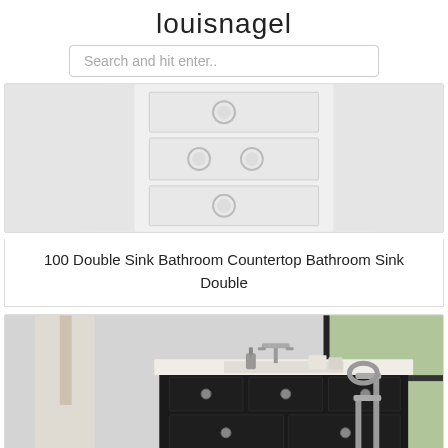louisnagel
Search and hit enter..
[Figure (photo): White bathroom drawer unit with circular cabinet handles, partial view cropped at top]
100 Double Sink Bathroom Countertop Bathroom Sink Double
[Figure (photo): Dark espresso bathroom vanity with white countertop, faucet, soap dispenser; freestanding bathtub and chrome floor-mount tub filler visible on right; robe hanging on left wall]